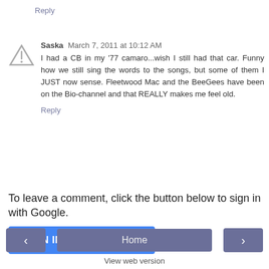Reply
Saska  March 7, 2011 at 10:12 AM
I had a CB in my '77 camaro...wish I still had that car. Funny how we still sing the words to the songs, but some of them I JUST now sense. Fleetwood Mac and the BeeGees have been on the Bio-channel and that REALLY makes me feel old.
Reply
To leave a comment, click the button below to sign in with Google.
[Figure (other): SIGN IN WITH GOOGLE button (blue)]
[Figure (other): Navigation bar with left arrow, Home, and right arrow buttons]
View web version